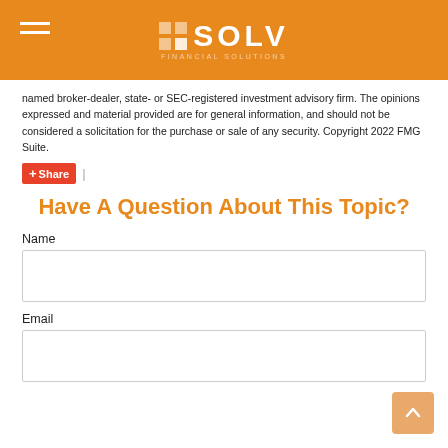SOLV FINANCIAL SOLUTIONS
named broker-dealer, state- or SEC-registered investment advisory firm. The opinions expressed and material provided are for general information, and should not be considered a solicitation for the purchase or sale of any security. Copyright 2022 FMG Suite.
Share |
Have A Question About This Topic?
Name
Email